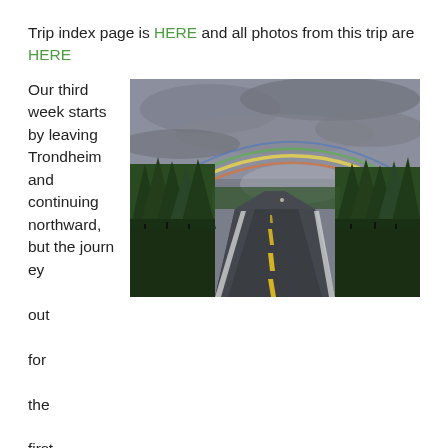Trip index page is HERE and all photos from this trip are HERE
Our third week starts by leaving Trondheim and continuing northward, but the journey out for the first hour or so is fast and dull – really quite uninspiring and
[Figure (photo): A road stretching into the distance flanked by dense conifer forests on both sides, with a rainbow visible in an overcast grey sky ahead. Yellow dashed lines mark the center of the road.]